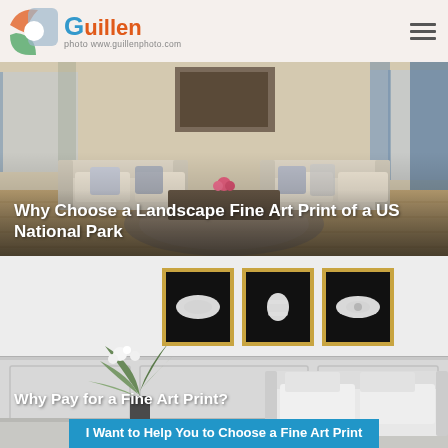[Figure (logo): Guillen Photo logo with colorful camera icon, orange/blue text, and website URL www.guillenphoto.com]
[Figure (photo): Interior living room scene with white sofas, decorative rug, hardwood floor, tall windows with blue curtains]
Why Choose a Landscape Fine Art Print of a US National Park
[Figure (photo): Interior room with white walls and wainscoting, white sofa, flower arrangement, with three triptych black-framed art prints on the wall showing abstract black and white forms]
Why Pay for a Fine Art Print?
I Want to Help You to Choose a Fine Art Print